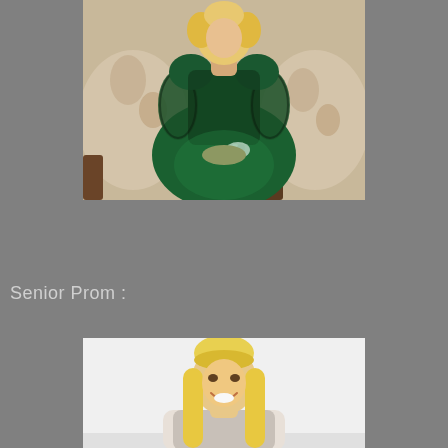[Figure (photo): A young woman with curly blonde hair sitting on a floral sofa, wearing a dark green formal gown with lace sleeves and puffy shoulders, holding a white floral corsage on her wrist. Vintage-style photograph.]
Senior Prom :
[Figure (photo): A smiling blonde woman with long straight hair and bangs, photographed against a white background. Modern-style portrait photo, head and shoulders visible.]